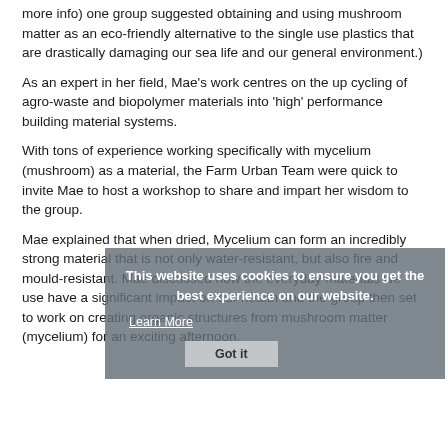more info) one group suggested obtaining and using mushroom matter as an eco-friendly alternative to the single use plastics that are drastically damaging our sea life and our general environment.)
As an expert in her field, Mae's work centres on the up cycling of agro-waste and biopolymer materials into 'high' performance building material systems.
With tons of experience working specifically with mycelium (mushroom) as a material, the Farm Urban Team were quick to invite Mae to host a workshop to share and impart her wisdom to the group.
Mae explained that when dried, Mycelium can form an incredibly strong material that is not only water-resistant, but also fire and mould-resistant. Mae discussed how the everyday materials we use have a significant impact on our health and the group then set to work on creating organic structures from mushroom matter (mycelium) for an exciting afternoon.
This website uses cookies to ensure you get the best experience on our website. Learn More Got it